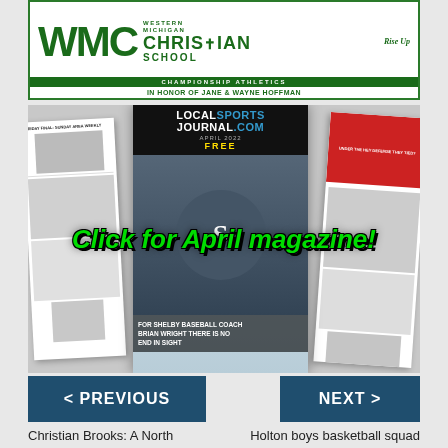[Figure (logo): Western Michigan Christian School - Championship Athletics - In Honor of Jane & Wayne Hoffman banner with WMC logo]
[Figure (photo): LocalSportsJournal.com April magazine collage with text 'Click for April magazine!' overlaid in green, and caption 'For Shelby Baseball Coach Brian Wright There Is No End In Sight']
< PREVIOUS
NEXT >
Christian Brooks: A North Muskegon student having
Holton boys basketball squad outlasts White